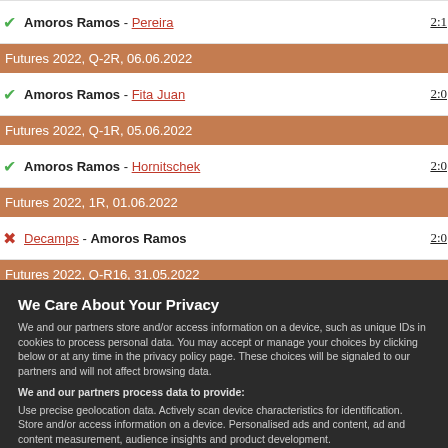|  | Match | Score |
| --- | --- | --- |
|  | Futures 2022, Q-2R, 06.06.2022 |  |
| ✔ | Amoros Ramos - Fita Juan | 2:0 |
|  | Futures 2022, Q-1R, 05.06.2022 |  |
| ✔ | Amoros Ramos - Hornitschek | 2:0 |
|  | Futures 2022, 1R, 01.06.2022 |  |
| ✗ | Decamps - Amoros Ramos | 2:0 |
|  | Futures 2022, Q-R16, 31.05.2022 |  |
| ✔ | Amoros Ramos - Boixader Roca | 2:0 |
We Care About Your Privacy
We and our partners store and/or access information on a device, such as unique IDs in cookies to process personal data. You may accept or manage your choices by clicking below or at any time in the privacy policy page. These choices will be signaled to our partners and will not affect browsing data.
We and our partners process data to provide:
Use precise geolocation data. Actively scan device characteristics for identification. Store and/or access information on a device. Personalised ads and content, ad and content measurement, audience insights and product development.
List of Partners (vendors)